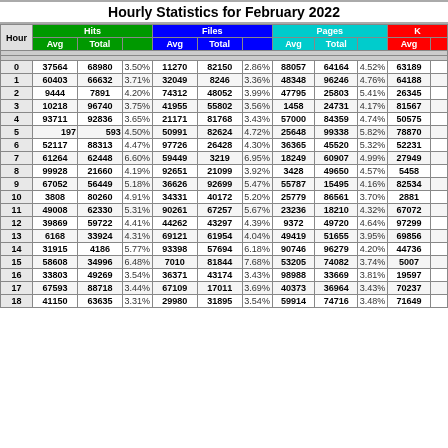Hourly Statistics for February 2022
| Hour | Hits Avg | Hits Total | Hits % | Files Avg | Files Total | Files % | Pages Avg | Pages Total | Pages % | KBytes Avg | KBytes ... |
| --- | --- | --- | --- | --- | --- | --- | --- | --- | --- | --- | --- |
| 0 | 37564 | 68980 | 3.50% | 11270 | 82150 | 2.86% | 88057 | 64164 | 4.52% | 63189 | ... |
| 1 | 60403 | 66632 | 3.71% | 32049 | 8246 | 3.36% | 48348 | 96246 | 4.76% | 64188 | ... |
| 2 | 9444 | 7891 | 4.20% | 74312 | 48052 | 3.99% | 47795 | 25803 | 5.41% | 26345 | ... |
| 3 | 10218 | 96740 | 3.75% | 41955 | 55802 | 3.56% | 1458 | 24731 | 4.17% | 81567 | ... |
| 4 | 93711 | 92836 | 3.65% | 21171 | 81768 | 3.43% | 57000 | 84359 | 4.74% | 50575 | ... |
| 5 | 197 | 593 | 4.50% | 50991 | 82624 | 4.72% | 25648 | 99338 | 5.82% | 78870 | ... |
| 6 | 52117 | 88313 | 4.47% | 97726 | 26428 | 4.30% | 36365 | 45520 | 5.32% | 52231 | ... |
| 7 | 61264 | 62448 | 6.60% | 59449 | 3219 | 6.95% | 18249 | 60907 | 4.99% | 27949 | ... |
| 8 | 99928 | 21660 | 4.19% | 92651 | 21099 | 3.92% | 3428 | 49650 | 4.57% | 5458 | ... |
| 9 | 67052 | 56449 | 5.18% | 36626 | 92699 | 5.47% | 55787 | 15495 | 4.16% | 82534 | ... |
| 10 | 3808 | 80260 | 4.91% | 34331 | 40172 | 5.20% | 25779 | 86561 | 3.70% | 2881 | ... |
| 11 | 49008 | 62330 | 5.31% | 90261 | 67257 | 5.67% | 23236 | 18210 | 4.32% | 67072 | ... |
| 12 | 39869 | 59722 | 4.41% | 44262 | 43297 | 4.39% | 9372 | 49720 | 4.64% | 97299 | ... |
| 13 | 6168 | 33924 | 4.31% | 69121 | 61954 | 4.04% | 49419 | 51655 | 3.95% | 69856 | ... |
| 14 | 31915 | 4186 | 5.77% | 93398 | 57694 | 6.18% | 90746 | 96279 | 4.20% | 44736 | ... |
| 15 | 58608 | 34996 | 6.48% | 7010 | 81844 | 7.68% | 53205 | 74082 | 3.74% | 5007 | ... |
| 16 | 33803 | 49269 | 3.54% | 36371 | 43174 | 3.43% | 98988 | 33669 | 3.81% | 19597 | ... |
| 17 | 67593 | 88718 | 3.44% | 67109 | 17011 | 3.69% | 40373 | 36964 | 3.43% | 70237 | ... |
| 18 | 41150 | 63635 | 3.31% | 29980 | 31895 | 3.54% | 59914 | 74716 | 3.48% | 71649 | ... |